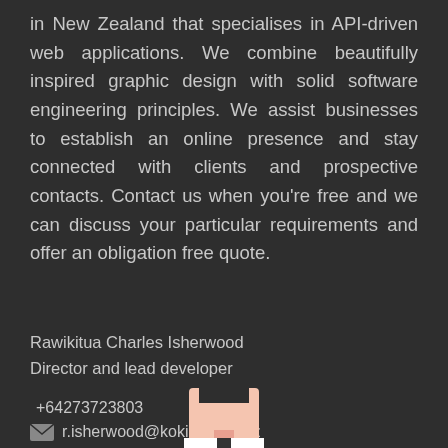in New Zealand that specialises in API-driven web applications. We combine beautifully inspired graphic design with solid software engineering principles. We assist businesses to establish an online presence and stay connected with clients and prospective contacts. Contact us when you're free and we can discuss your particular requirements and offer an obligation free quote.
Rawikitua Charles Isherwood
Director and lead developer
+64273723803
r.isherwood@kokirikiri.co.nz
[Figure (illustration): Partial avatar/profile image at bottom center, showing a pixel-art style figure cropped at the bottom edge]